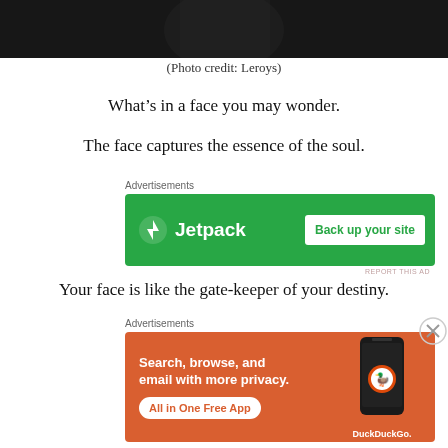[Figure (photo): Black and white photo strip of a person, cropped at the torso]
(Photo credit: Leroys)
What's in a face you may wonder.
The face captures the essence of the soul.
[Figure (screenshot): Jetpack advertisement banner with green background. Shows Jetpack logo and 'Back up your site' button.]
Your face is like the gate-keeper of your destiny.
[Figure (screenshot): DuckDuckGo advertisement banner with orange background. Text: 'Search, browse, and email with more privacy. All in One Free App' with phone image and DuckDuckGo logo.]